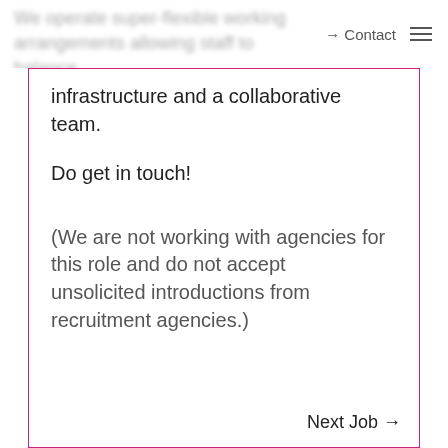→ Contact ☰
infrastructure and a collaborative team.
Do get in touch!
(We are not working with agencies for this role and do not accept unsolicited introductions from recruitment agencies.)
Next Job →